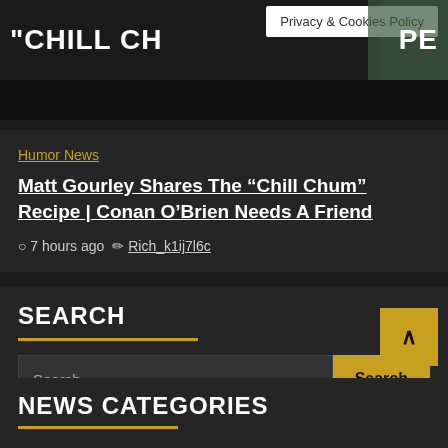[Figure (screenshot): Dark-themed website header showing partial title text 'CHILL CH...PE' with a privacy and cookies policy button, and '2 min read' label]
Privacy & Cookies Policy
2 min read
Humor News
Matt Gourley Shares The “Chill Chum” Recipe | Conan O’Brien Needs A Friend
7 hours ago   Rich_k1ij7l6c
SEARCH
Search ...
Search
NEWS CATEGORIES